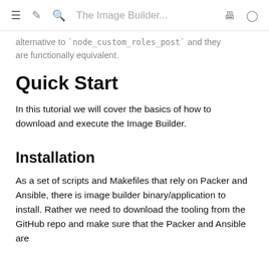The Image Builder...
alternative to `node_custom_roles_post` and they are functionally equivalent.
Quick Start
In this tutorial we will cover the basics of how to download and execute the Image Builder.
Installation
As a set of scripts and Makefiles that rely on Packer and Ansible, there is image builder binary/application to install. Rather we need to download the tooling from the GitHub repo and make sure that the Packer and Ansible are